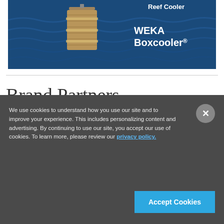[Figure (photo): Advertisement image showing a wooden Boxcooler submerged in ocean water with text 'Reef Cooler' and 'WEKA Boxcooler®' overlaid in white on a dark blue ocean background]
Brand Partners
We use cookies to understand how you use our site and to improve your experience. This includes personalizing content and advertising. By continuing to use our site, you accept our use of cookies. To learn more, please review our privacy policy.